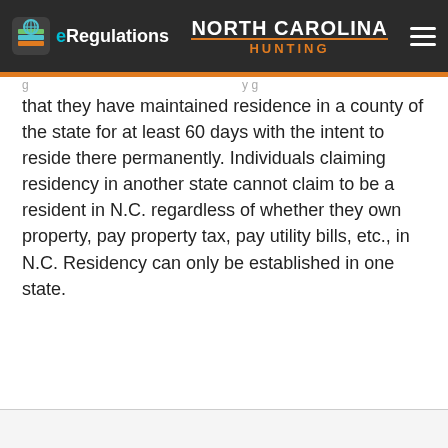eRegulations | NORTH CAROLINA HUNTING
that they have maintained residence in a county of the state for at least 60 days with the intent to reside there permanently. Individuals claiming residency in another state cannot claim to be a resident in N.C. regardless of whether they own property, pay property tax, pay utility bills, etc., in N.C. Residency can only be established in one state.